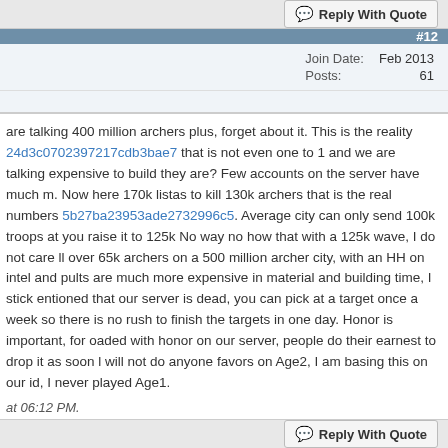Reply With Quote
#12
Join Date: Feb 2013
Posts: 61
are talking 400 million archers plus, forget about it. This is the reality 24d3c07023 97217cdb3bae7 that is not even one to 1 and we are talking expensive to build they are? Few accounts on the server have much m. Now here 170k listas to kill 130k archers that is the real numbers 5b27ba23953ade2732996c5. Average city can only send 100k troops at you raise it to 125k No way no how that with a 125k wave, I do not care ll over 65k archers on a 500 million archer city, with an HH on intel and pults are much more expensive in material and building time, I stick entioned that our server is dead, you can pick at a target once a week so there is no rush to finish the targets in one day. Honor is important, for oaded with honor on our server, people do their earnest to drop it as soon l will not do anyone favors on Age2, I am basing this on our id, I never played Age1.
at 06:12 PM.
Reply With Quote